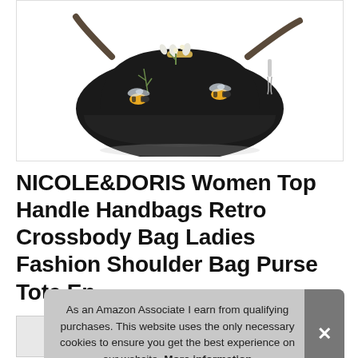[Figure (photo): Black leather handbag with bee and floral embroidery on a white background, with shoulder strap]
NICOLE&DORIS Women Top Handle Handbags Retro Crossbody Bag Ladies Fashion Shoulder Bag Purse Tote En
As an Amazon Associate I earn from qualifying purchases. This website uses the only necessary cookies to ensure you get the best experience on our website. More information
[Figure (photo): Thumbnail strip of product images at the bottom of the page]